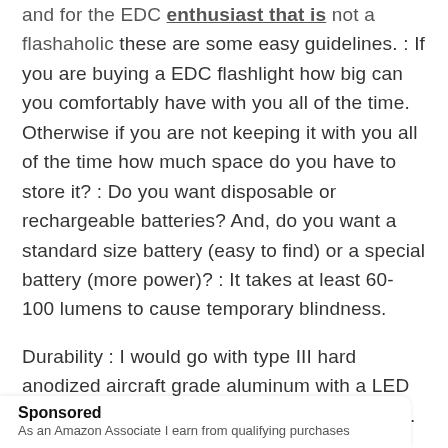and for the EDC enthusiast that is not a flashaholic these are some easy guidelines. : If you are buying a EDC flashlight how big can you comfortably have with you all of the time. Otherwise if you are not keeping it with you all of the time how much space do you have to store it? : Do you want disposable or rechargeable batteries? And, do you want a standard size battery (easy to find) or a special battery (more power)? : It takes at least 60-100 lumens to cause temporary blindness.
Durability : I would go with type III hard anodized aircraft grade aluminum with a LED bulb that is rated to at least IPXwaterproofing.
Sponsored
As an Amazon Associate I earn from qualifying purchases